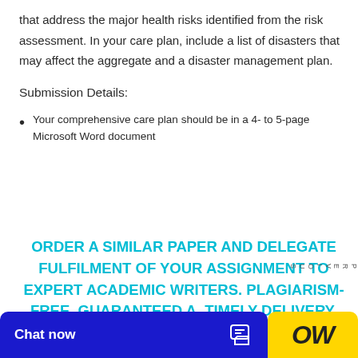that address the major health risks identified from the risk assessment. In your care plan, include a list of disasters that may affect the aggregate and a disaster management plan.
Submission Details:
Your comprehensive care plan should be in a 4- to 5-page Microsoft Word document
ORDER A SIMILAR PAPER AND DELEGATE FULFILMENT OF YOUR ASSIGNMENT TO EXPERT ACADEMIC WRITERS. PLAGIARISM-FREE, GUARANTEED A, TIMELY DELIVERY.
PREVIOUS
Chat now